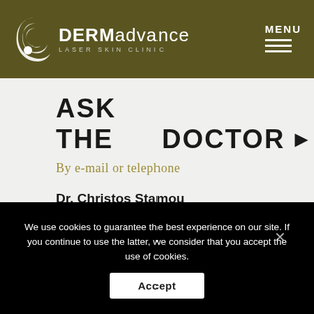[Figure (logo): DERMadvance Laser Skin Clinic logo with circular swirl graphic and white text]
ASK THE DOCTOR ▶
By e-mail or telephone
Dr. Christos Stamou
We use cookies to guarantee the best experience on our site. If you continue to use the latter, we consider that you accept the use of cookies.
Accept